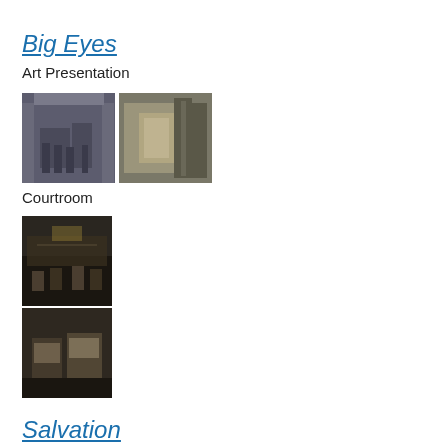Big Eyes
Art Presentation
[Figure (photo): Two stills from Big Eyes: left image shows people on steps of a building with columns; right image shows people at a podium displaying a painting]
Courtroom
[Figure (photo): Two stills from Big Eyes courtroom scenes: top image shows a dark crowded courtroom interior; bottom image shows two women seated in dim lighting]
Salvation
Supreme Court